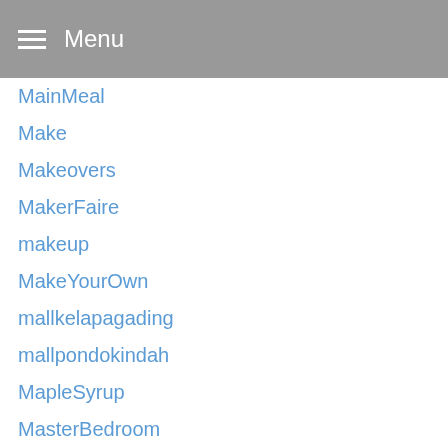Menu
MainMeal
Make
Makeovers
MakerFaire
makeup
MakeYourOwn
mallkelapagading
mallpondokindah
MapleSyrup
MasterBedroom
MDesign
Meat
MeatlessMains
MeatlessMondays
MeatRecipes
Meats
MedicineBallMakeItYourself